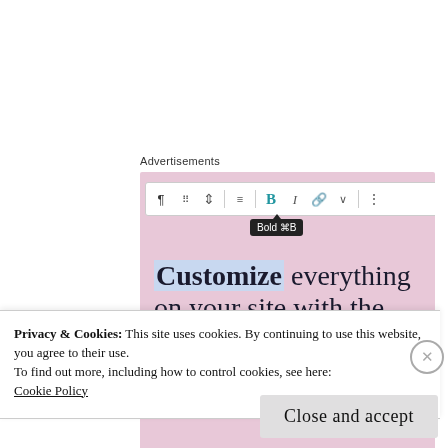Advertisements
[Figure (screenshot): WordPress Site Editor advertisement screenshot with toolbar showing Bold option tooltip. Pink background with text 'Customize everything on your site with the new Site Editor.' and a dark purple 'Start Today' button.]
Privacy & Cookies: This site uses cookies. By continuing to use this website, you agree to their use.
To find out more, including how to control cookies, see here:
Cookie Policy
Close and accept